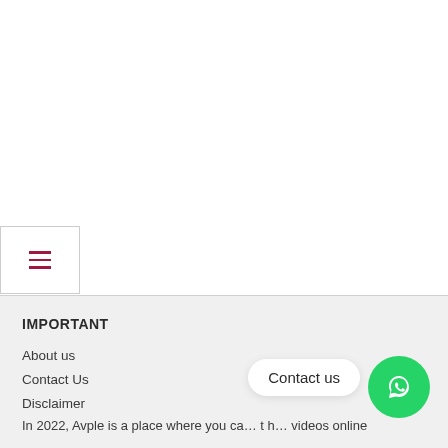[Figure (other): Hamburger menu button with three horizontal dark red/maroon lines, in a rectangular bordered box]
IMPORTANT
About us
Contact Us
Disclaimer
In 2022, Avple is a place where you ca... t h... videos online
Picuki instagram stories not working
Contact us